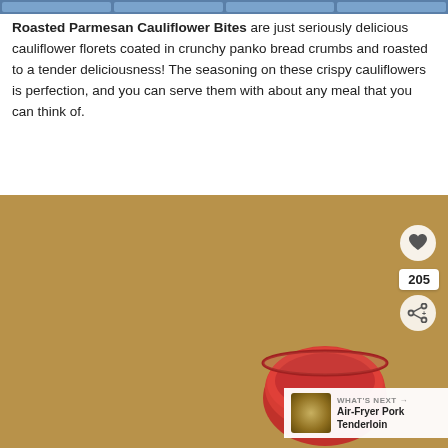[navigation bar with buttons]
Roasted Parmesan Cauliflower Bites are just seriously delicious cauliflower florets coated in crunchy panko bread crumbs and roasted to a tender deliciousness! The seasoning on these crispy cauliflowers is perfection, and you can serve them with about any meal that you can think of.
[Figure (photo): Close-up photo of golden-brown roasted parmesan cauliflower bites on a baking rack with a bowl of red marinara dipping sauce. UI overlay shows a heart (save) button, share count of 205, a share button, and a 'What's Next' card for Air-Fryer Pork Tenderloin.]